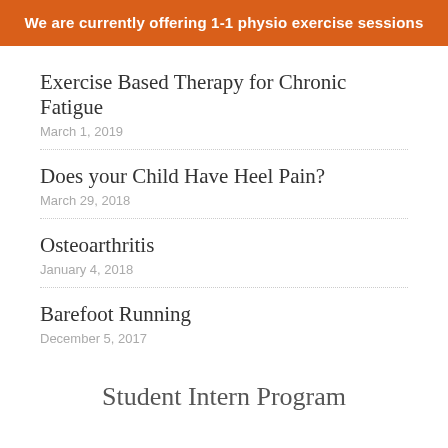We are currently offering 1-1 physio exercise sessions
Exercise Based Therapy for Chronic Fatigue
March 1, 2019
Does your Child Have Heel Pain?
March 29, 2018
Osteoarthritis
January 4, 2018
Barefoot Running
December 5, 2017
Student Intern Program